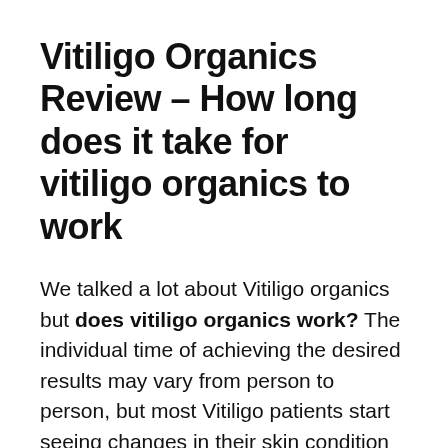Vitiligo Organics Review – How long does it take for vitiligo organics to work
We talked a lot about Vitiligo organics but does vitiligo organics work? The individual time of achieving the desired results may vary from person to person, but most Vitiligo patients start seeing changes in their skin condition in only a few weeks. How it works is that the white spots on the skin start turning into a lighter shade, often of a pink tint. Then between the white spots, the original skin appears in smaller dots, and then eventually, the skin is restored to its even and natural skin color.